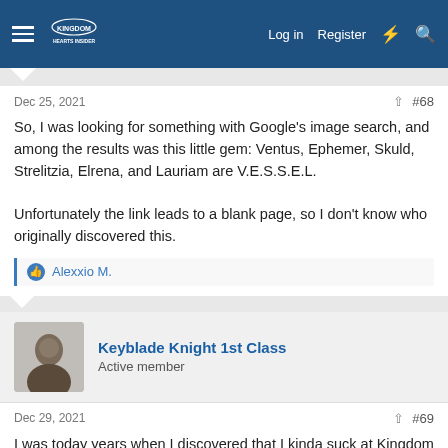Log in  Register
Dec 25, 2021  #68
So, I was looking for something with Google's image search, and among the results was this little gem: Ventus, Ephemer, Skuld, Strelitzia, Elrena, and Lauriam are V.E.S.S.E.L.

Unfortunately the link leads to a blank page, so I don't know who originally discovered this.
Alexxio M.
Keyblade Knight 1st Class
Active member
Dec 29, 2021  #69
I was today years when I discovered that I kinda suck at Kingdom Hearts. Well not the original but 2FM and Re:Mind for